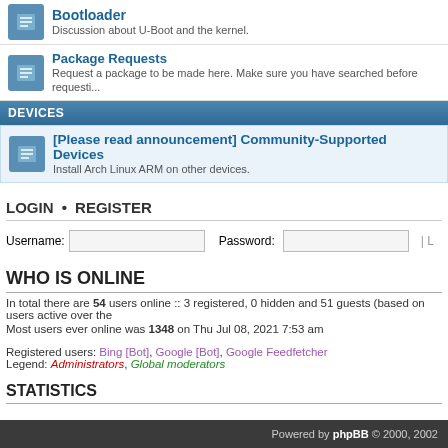[Figure (screenshot): Forum listing row: Bootloader - Discussion about U-Boot and the kernel]
Package Requests
Request a package to be made here. Make sure you have searched before requesting.
DEVICES
[Please read announcement] Community-Supported Devices
Install Arch Linux ARM on other devices.
LOGIN • REGISTER
Username: [input] Password: [input] | L
WHO IS ONLINE
In total there are 54 users online :: 3 registered, 0 hidden and 51 guests (based on users active over the
Most users ever online was 1348 on Thu Jul 08, 2021 7:53 am
Registered users: Bing [Bot], Google [Bot], Google Feedfetcher
Legend: Administrators, Global moderators
STATISTICS
Total posts 58623 • Total topics 11306 • Total members 12226 • Our newest member sierratango
Board index
Powered by phpBB © 2000, 2002